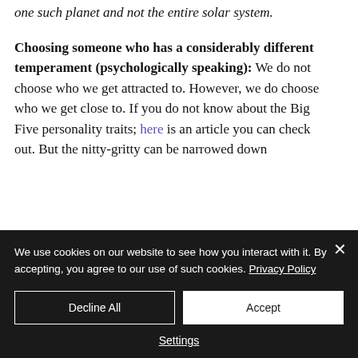one such planet and not the entire solar system.
Choosing someone who has a considerably different temperament (psychologically speaking): We do not choose who we get attracted to. However, we do choose who we get close to.  If you do not know about the Big Five personality traits; here is an article you can check out. But the nitty-gritty can be narrowed down
We use cookies on our website to see how you interact with it. By accepting, you agree to our use of such cookies. Privacy Policy